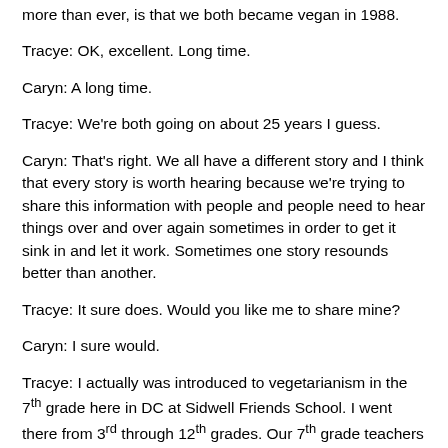more than ever, is that we both became vegan in 1988.
Tracye: OK, excellent. Long time.
Caryn: A long time.
Tracye: We're both going on about 25 years I guess.
Caryn: That's right. We all have a different story and I think that every story is worth hearing because we're trying to share this information with people and people need to hear things over and over again sometimes in order to get it sink in and let it work. Sometimes one story resounds better than another.
Tracye: It sure does. Would you like me to share mine?
Caryn: I sure would.
Tracye: I actually was introduced to vegetarianism in the 7th grade here in DC at Sidwell Friends School. I went there from 3rd through 12th grades. Our 7th grade teachers decided that our class camping trip should be all vegetarian. Two of my three